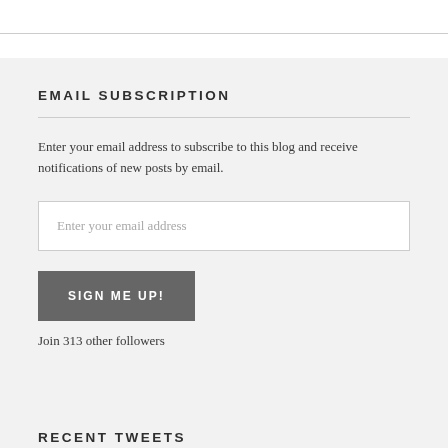EMAIL SUBSCRIPTION
Enter your email address to subscribe to this blog and receive notifications of new posts by email.
Enter your email address
SIGN ME UP!
Join 313 other followers
RECENT TWEETS